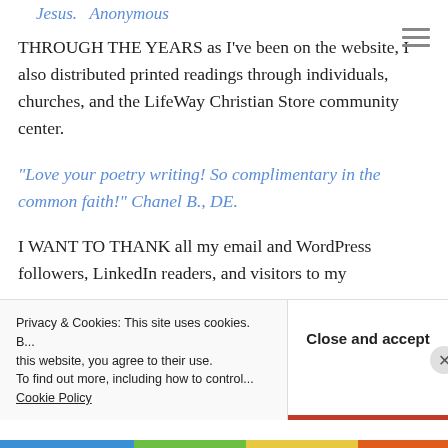Jesus.  Anonymous
THROUGH THE YEARS as I've been on the website, I also distributed printed readings through individuals, churches, and the LifeWay Christian Store community center.
“Love your poetry writing! So complimentary in the common faith!” Chanel B., DE.
I WANT TO THANK all my email and WordPress followers, LinkedIn readers, and visitors to my
Privacy & Cookies: This site uses cookies. By continuing to use this website, you agree to their use.
To find out more, including how to control cookies, see here:
Cookie Policy
Close and accept